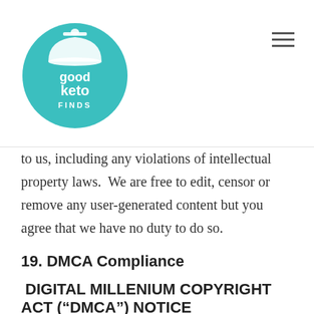[Figure (logo): Good Keto Finds circular logo with teal/turquoise background, white dish cloche icon, text 'good keto FINDS']
to us, including any violations of intellectual property laws.  We are free to edit, censor or remove any user-generated content but you agree that we have no duty to do so.
19. DMCA Compliance
DIGITAL MILLENIUM COPYRIGHT ACT (“DMCA”) NOTICE
We respect copyright law.  If you believe that there has been an infringement of your copyright please